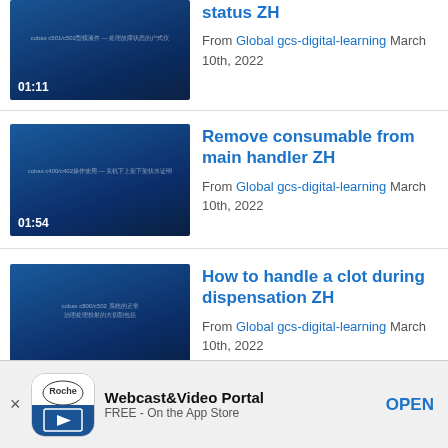[Figure (screenshot): Video thumbnail with blue gradient background, Chinese text, duration 01:11]
status ZH
From Global gcs-digital-learning March 10th, 2022
[Figure (screenshot): Video thumbnail with blue gradient background, Chinese text, duration 01:54]
Remove consumable from main handler ZH
From Global gcs-digital-learning March 10th, 2022
[Figure (screenshot): Video thumbnail with blue gradient background, Chinese text, duration 03:09]
How to handle a clot during dispensation ZH
From Global gcs-digital-learning March 10th, 2022
[Figure (screenshot): Partial video thumbnail, blue background]
Open the cover in powerless
Webcast&Video Portal
FREE - On the App Store
OPEN